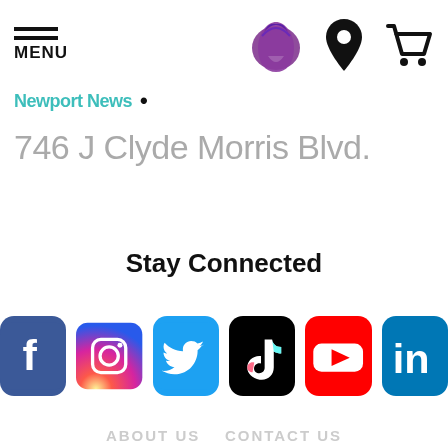MENU | Taco Bell logo | Location icon | Cart icon
Newport News •
746 J Clyde Morris Blvd.
Stay Connected
[Figure (logo): Row of social media icons: Facebook, Instagram, Twitter, TikTok, YouTube, LinkedIn]
ABOUT US  CONTACT US